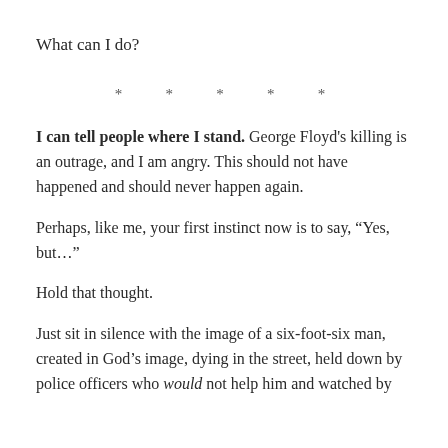What can I do?
* * * * *
I can tell people where I stand. George Floyd’s killing is an outrage, and I am angry. This should not have happened and should never happen again.
Perhaps, like me, your first instinct now is to say, “Yes, but…”
Hold that thought.
Just sit in silence with the image of a six-foot-six man, created in God’s image, dying in the street, held down by police officers who would not help him and watched by